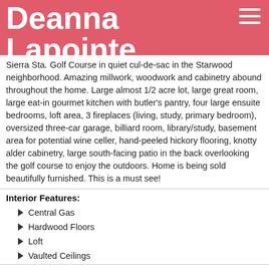Deanna Lapointe
Sierra Star Golf Course in quiet cul-de-sac in the Starwood neighborhood. Amazing millwork, woodwork and cabinetry abound throughout the home. Large almost 1/2 acre lot, large great room, large eat-in gourmet kitchen with butler's pantry, four large ensuite bedrooms, loft area, 3 fireplaces (living, study, primary bedroom), oversized three-car garage, billiard room, library/study, basement area for potential wine celler, hand-peeled hickory flooring, knotty alder cabinetry, large south-facing patio in the back overlooking the golf course to enjoy the outdoors. Home is being sold beautifully furnished. This is a must see!
Interior Features:
Central Gas
Hardwood Floors
Loft
Vaulted Ceilings
Exterior Features:
Concrete Driveway
On Golf Course